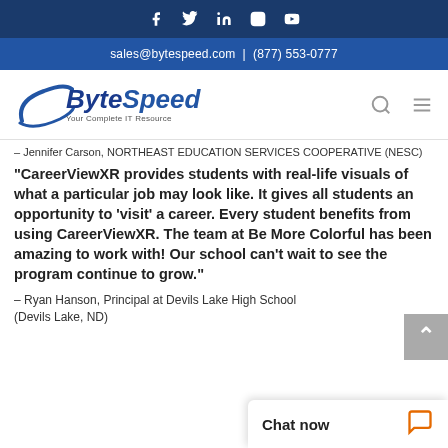Social media icons: Facebook, Twitter, LinkedIn, Instagram, YouTube
sales@bytespeed.com | (877) 553-0777
[Figure (logo): ByteSpeed logo with tagline 'Your Complete IT Resource']
– Jennifer Carson, NORTHEAST EDUCATION SERVICES COOPERATIVE (NESC)
“CareerViewXR provides students with real-life visuals of what a particular job may look like. It gives all students an opportunity to ‘visit’ a career. Every student benefits from using CareerViewXR. The team at Be More Colorful has been amazing to work with! Our school can’t wait to see the program continue to grow.”
– Ryan Hanson, Principal at Devils Lake High School (Devils Lake, ND)